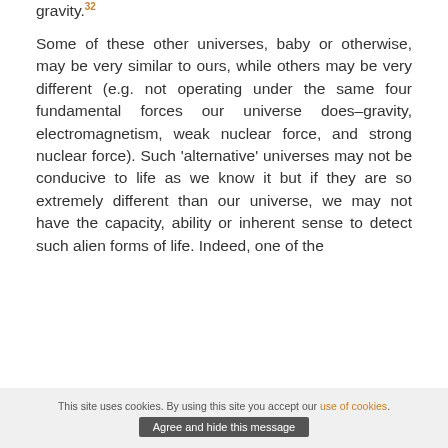gravity.32
Some of these other universes, baby or otherwise, may be very similar to ours, while others may be very different (e.g. not operating under the same four fundamental forces our universe does–gravity, electromagnetism, weak nuclear force, and strong nuclear force). Such 'alternative' universes may not be conducive to life as we know it but if they are so extremely different than our universe, we may not have the capacity, ability or inherent sense to detect such alien forms of life. Indeed, one of the
This site uses cookies. By using this site you accept our use of cookies. Agree and hide this message